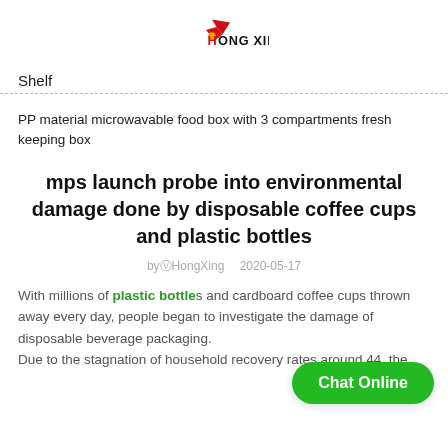[Figure (logo): HongXing logo with red swoosh and text HONG XING]
Shelf
PP material microwavable food box with 3 compartments fresh keeping box
mps launch probe into environmental damage done by disposable coffee cups and plastic bottles
by HongXing   2020-05-17
With millions of plastic bottles and cardboard coffee cups thrown away every day, people began to investigate the damage of disposable beverage packaging.
Due to the stagnation of household recovery rates around 44, the